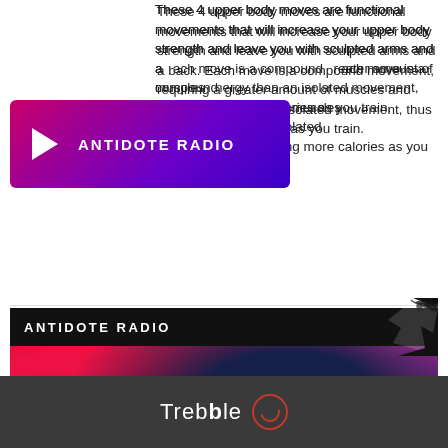These 4 upper body moves are functional movements that will increase your upper body strength and leave you with sculpted arms and a back. Each move is a compound movement, requiring a greater amount of muscles and more energy than an isolated movement, thus burning more calories as you train.
[Figure (screenshot): Antidote Radio app button with play triangle and gradient pink-to-purple background]
[Figure (screenshot): Antidote Radio section header with black bar and colorful gradient album art below in reds, pinks, and dark blues]
[Figure (screenshot): Music Player section header with black bar]
Trebble